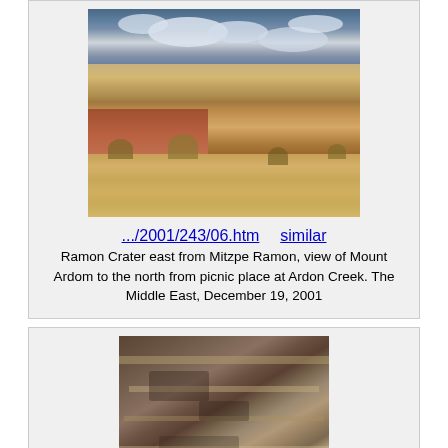[Figure (photo): Desert landscape showing Ramon Crater east from Mitzpe Ramon, with layered sandstone cliffs in orange and cream tones under a cloudy blue sky, with arid scrubland in the foreground.]
.../2001/243/06.htm    similar
Ramon Crater east from Mitzpe Ramon, view of Mount Ardom to the north from picnic place at Ardon Creek. The Middle East, December 19, 2001
[Figure (photo): Rocky terrain showing layered rock formations and sedimentary strata at Ardon Creek area, with reddish-brown and tan colored rocks.]